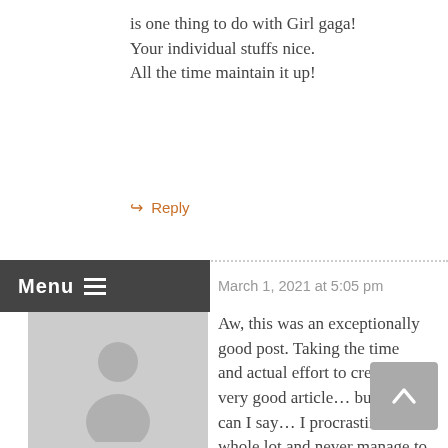is one thing to do with Girl gaga! Your individual stuffs nice. All the time maintain it up!
↳ Reply
[Figure (other): Dotted horizontal separator line]
[Figure (other): Menu bar with hamburger icon]
[Figure (other): User avatar placeholder silhouette]
https://credit-repair-87w.descubrechile.cl/
March 1, 2021 at 5:05 pm
Aw, this was an exceptionally good post. Taking the time and actual effort to create a very good article… but what can I say… I procrastinate a whole lot and never manage to get nearly anything done.